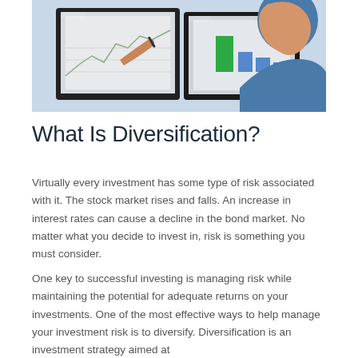[Figure (photo): A man in a blue shirt looking at two computer monitors displaying financial charts and graphs, holding a stylus or pen]
What Is Diversification?
Virtually every investment has some type of risk associated with it. The stock market rises and falls. An increase in interest rates can cause a decline in the bond market. No matter what you decide to invest in, risk is something you must consider.
One key to successful investing is managing risk while maintaining the potential for adequate returns on your investments. One of the most effective ways to help manage your investment risk is to diversify. Diversification is an investment strategy aimed at